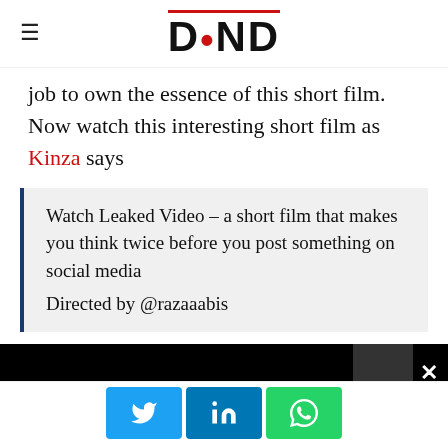DND
job to own the essence of this short film. Now watch this interesting short film as Kinza says
Watch Leaked Video – a short film that makes you think twice before you post something on social media
Directed by @razaaabis
[Figure (screenshot): Black video player bar with close (×) button and partial thumbnail on right]
[Figure (infographic): Social share buttons: Twitter (blue), LinkedIn (blue), WhatsApp (green)]